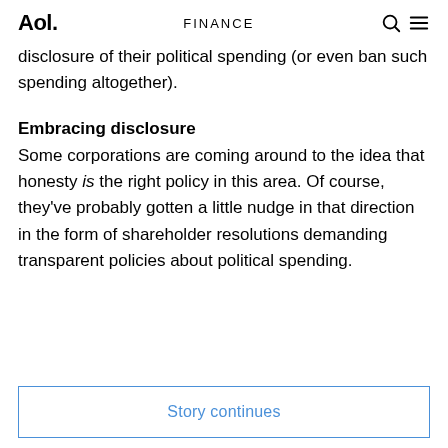Aol. FINANCE
disclosure of their political spending (or even ban such spending altogether).
Embracing disclosure
Some corporations are coming around to the idea that honesty is the right policy in this area. Of course, they've probably gotten a little nudge in that direction in the form of shareholder resolutions demanding transparent policies about political spending.
Story continues